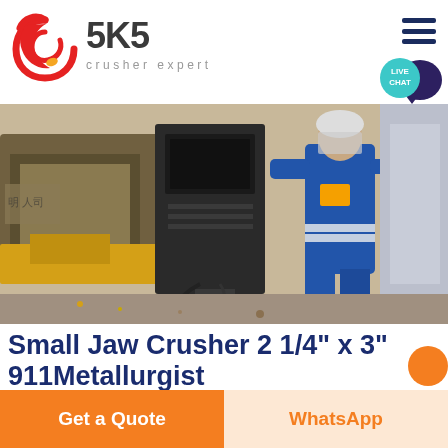[Figure (logo): SKS Crusher Expert logo with red swirl emblem and grey SKS text with tagline 'crusher expert']
[Figure (photo): Industrial photo of a worker in blue overalls operating a jaw crusher machine in a factory setting]
Small Jaw Crusher 2 1/4″ x 3″ 911Metallurgist
Get a Quote
WhatsApp